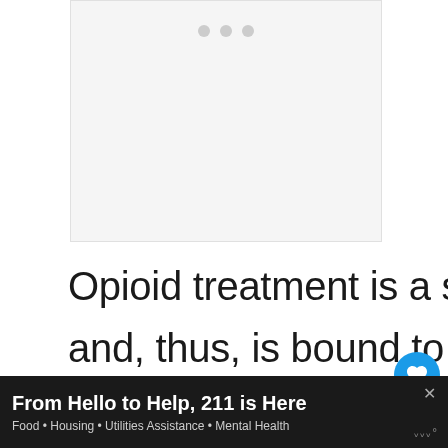[Figure (other): Blank image placeholder with pagination dots at top, part of a slideshow or carousel]
Opioid treatment is a strong pain relief medication and, thus, is bound to be costly. Also, since its effects start lessening over time, the dosage
From Hello to Help, 211 is Here
Food • Housing • Utilities Assistance • Mental Health